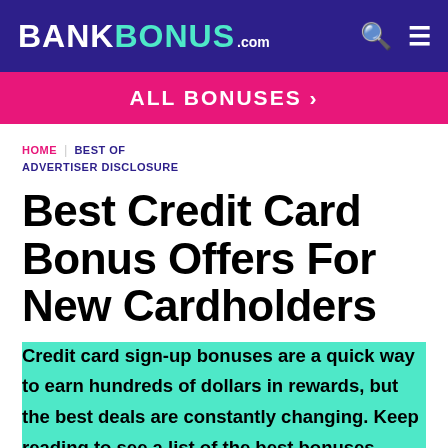BANKBONUS.com
[Figure (infographic): Pink banner reading ALL BONUSES >]
HOME | BEST OF
ADVERTISER DISCLOSURE
Best Credit Card Bonus Offers For New Cardholders
Credit card sign-up bonuses are a quick way to earn hundreds of dollars in rewards, but the best deals are constantly changing. Keep reading to see a list of the best bonuses